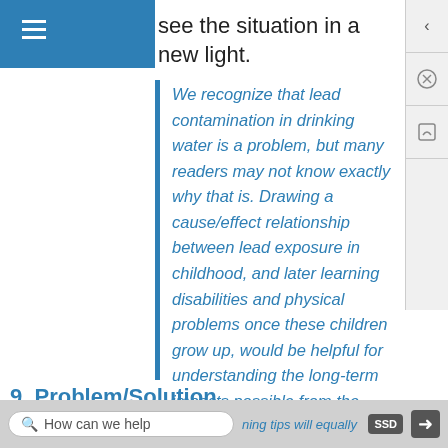see the situation in a new light.
We recognize that lead contamination in drinking water is a problem, but many readers may not know exactly why that is. Drawing a cause/effect relationship between lead exposure in childhood, and later learning disabilities and physical problems once these children grow up, would be helpful for understanding the long-term impacts possible from the current situation in Flint.
9. Problem/Solution
How can we help